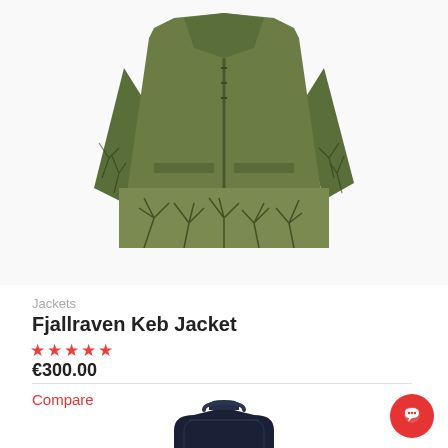[Figure (photo): Green Fjallraven Keb Jacket with camouflage tree print pattern on the lower half and sleeves, displayed on white background]
Jackets
Fjallraven Keb Jacket
★★★★★ (empty stars rating)
€300.00
Compare
[Figure (photo): Partial view of a dark navy blue product (backpack or bag) at the bottom of the page]